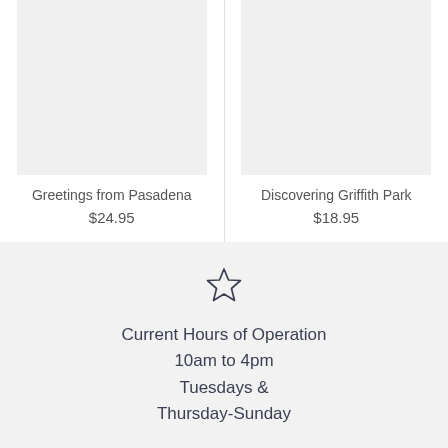[Figure (photo): Product image placeholder for Greetings from Pasadena book (light gray rectangle)]
Greetings from Pasadena
$24.95
[Figure (photo): Product image placeholder for Discovering Griffith Park book (light gray rectangle)]
Discovering Griffith Park
$18.95
[Figure (illustration): Star/favorite icon (outline star shape)]
Current Hours of Operation
10am to 4pm
Tuesdays &
Thursday-Sunday
[Figure (illustration): Phone/telephone icon (outline)]
626-449-4178